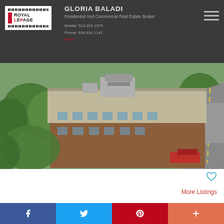[Figure (logo): Royal LePage logo — white box with red bar and barcode lines, black serif text]
GLORIA BALADI
Residential And Commercial Real Estate Broker
Mobile: 514.262.1975
Phone: 514.634.1141
Email
[Figure (photo): Aerial drone photo of a two-storey brick commercial building surrounded by trees, with a flat roof and HVAC equipment on top, parking lot visible to the right]
$800.00 MONTHLY +GST/QST
More Listings
[Figure (infographic): Social share bar with Facebook, Twitter, Pinterest, and plus buttons]